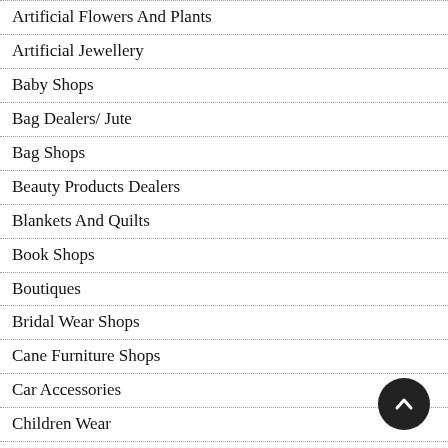Artificial Flowers And Plants
Artificial Jewellery
Baby Shops
Bag Dealers/ Jute
Bag Shops
Beauty Products Dealers
Blankets And Quilts
Book Shops
Boutiques
Bridal Wear Shops
Cane Furniture Shops
Car Accessories
Children Wear
Clocks And Accessories
Clothing and Accessories
Coir and Coir Products